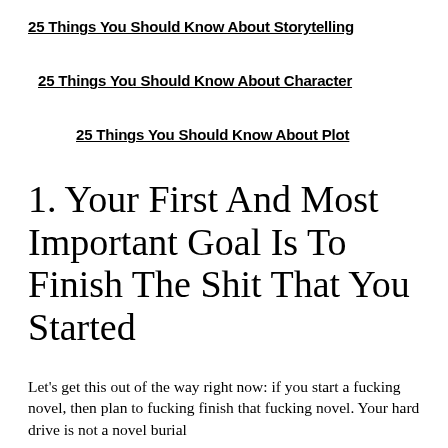25 Things You Should Know About Storytelling
25 Things You Should Know About Character
25 Things You Should Know About Plot
1. Your First And Most Important Goal Is To Finish The Shit That You Started
Let's get this out of the way right now: if you start a fucking novel, then plan to fucking finish that fucking novel. Your hard drive is not a novel burial